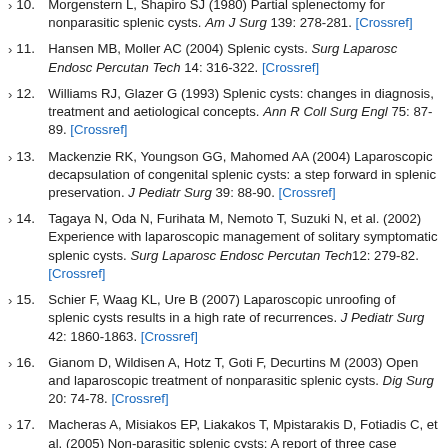10. Morgenstern L, Shapiro SJ (1980) Partial splenectomy for nonparasitic splenic cysts. Am J Surg 139: 278-281. [Crossref]
11. Hansen MB, Moller AC (2004) Splenic cysts. Surg Laparosc Endosc Percutan Tech 14: 316-322. [Crossref]
12. Williams RJ, Glazer G (1993) Splenic cysts: changes in diagnosis, treatment and aetiological concepts. Ann R Coll Surg Engl 75: 87-89. [Crossref]
13. Mackenzie RK, Youngson GG, Mahomed AA (2004) Laparoscopic decapsulation of congenital splenic cysts: a step forward in splenic preservation. J Pediatr Surg 39: 88-90. [Crossref]
14. Tagaya N, Oda N, Furihata M, Nemoto T, Suzuki N, et al. (2002) Experience with laparoscopic management of solitary symptomatic splenic cysts. Surg Laparosc Endosc Percutan Tech 12: 279-82. [Crossref]
15. Schier F, Waag KL, Ure B (2007) Laparoscopic unroofing of splenic cysts results in a high rate of recurrences. J Pediatr Surg 42: 1860-1863. [Crossref]
16. Gianom D, Wildisen A, Hotz T, Goti F, Decurtins M (2003) Open and laparoscopic treatment of nonparasitic splenic cysts. Dig Surg 20: 74-78. [Crossref]
17. Macheras A, Misiakos EP, Liakakos T, Mpistarakis D, Fotiadis C, et al. (2005) Non-parasitic splenic cysts: A report of three cases...